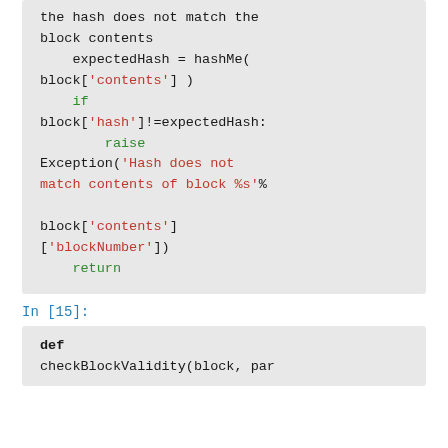[Figure (screenshot): Jupyter notebook code cell showing Python code: comment about hash mismatch, expectedHash = hashMe(block['contents']), if block['hash']!=expectedHash: raise Exception('Hash does not match contents of block %s'% block['contents']['blockNumber']), return]
In [15]:
[Figure (screenshot): Jupyter notebook code cell beginning with: def checkBlockValidity(block, par...]